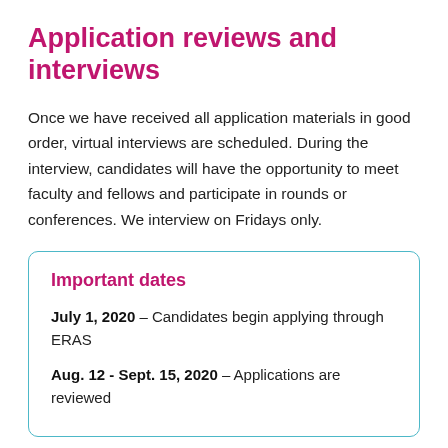Application reviews and interviews
Once we have received all application materials in good order, virtual interviews are scheduled. During the interview, candidates will have the opportunity to meet faculty and fellows and participate in rounds or conferences. We interview on Fridays only.
Important dates
July 1, 2020 – Candidates begin applying through ERAS
Aug. 12 - Sept. 15, 2020 – Applications are reviewed